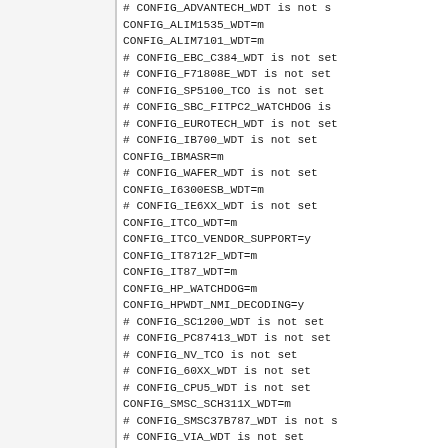# CONFIG_ADVANTECH_WDT is not s
CONFIG_ALIM1535_WDT=m
CONFIG_ALIM7101_WDT=m
# CONFIG_EBC_C384_WDT is not set
# CONFIG_F71808E_WDT is not set
# CONFIG_SP5100_TCO is not set
# CONFIG_SBC_FITPC2_WATCHDOG is
# CONFIG_EUROTECH_WDT is not set
# CONFIG_IB700_WDT is not set
CONFIG_IBMASR=m
# CONFIG_WAFER_WDT is not set
CONFIG_I6300ESB_WDT=m
# CONFIG_IE6XX_WDT is not set
CONFIG_ITCO_WDT=m
CONFIG_ITCO_VENDOR_SUPPORT=y
CONFIG_IT8712F_WDT=m
CONFIG_IT87_WDT=m
CONFIG_HP_WATCHDOG=m
CONFIG_HPWDT_NMI_DECODING=y
# CONFIG_SC1200_WDT is not set
# CONFIG_PC87413_WDT is not set
# CONFIG_NV_TCO is not set
# CONFIG_60XX_WDT is not set
# CONFIG_CPU5_WDT is not set
CONFIG_SMSC_SCH311X_WDT=m
# CONFIG_SMSC37B787_WDT is not s
# CONFIG_VIA_WDT is not set
CONFIG_W83627HF_WDT=m
CONFIG_W83877F_WDT=m
CONFIG_W83977F_WDT=m
CONFIG_MACHZ_WDT=m
# CONFIG_SBC_EPX_C3_WATCHDOG is
# CONFIG_INTEL_MEI_WDT is not